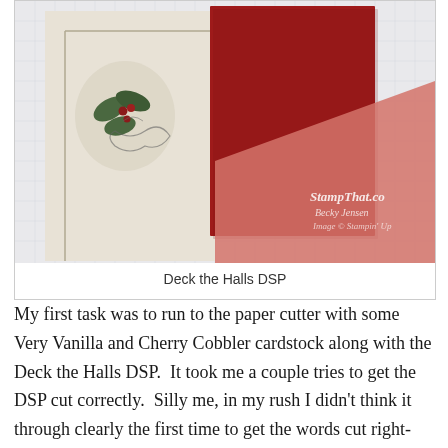[Figure (photo): Photo showing craft paper supplies: patterned DSP (Deck the Halls Designer Series Paper) with a holly stamp image on cream background, a solid red Cherry Cobbler cardstock piece, and a lighter red patterned DSP triangle piece, on a white surface. Watermark reads 'StampThat.co Becky Jensen Image © Stampin Up']
Deck the Halls DSP
My first task was to run to the paper cutter with some Very Vanilla and Cherry Cobbler cardstock along with the Deck the Halls DSP.  It took me a couple tries to get the DSP cut correctly.  Silly me, in my rush I didn't think it through clearly the first time to get the words cut right-